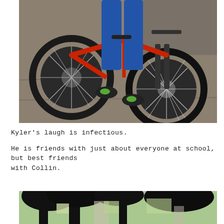[Figure (photo): Child straddling a red mountain bike on a concrete sidewalk, wearing blue jeans and green/black sneakers. View is from the waist down. Red bike frame, large knobby tires, suspension fork visible.]
Kyler's laugh is infectious.
He is friends with just about everyone at school, but best friends with Collin.
[Figure (photo): Outdoor scene with dark tree silhouettes against a bright sky, with buildings partially visible in the background.]